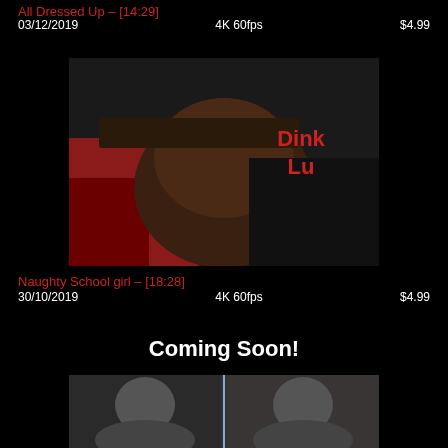All Dressed Up – [14:29]
03/12/2019     4K 60fps     $4.99
[Figure (photo): Thumbnail photo with overlay text 'Dink Lu' in red]
Naughty School girl – [18:28]
30/10/2019     4K 60fps     $4.99
Coming Soon!
[Figure (photo): Two-panel preview thumbnail showing two people]